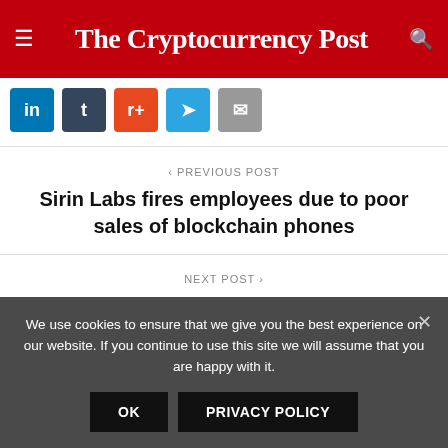The Cryptocurrency Post
[Figure (other): Social share buttons: LinkedIn, Tumblr, Reddit, Telegram, Email]
< PREVIOUS POST
Sirin Labs fires employees due to poor sales of blockchain phones
NEXT POST >
Accenture and Generali optimize employee benefits insurance using the blockchain
We use cookies to ensure that we give you the best experience on our website. If you continue to use this site we will assume that you are happy with it.